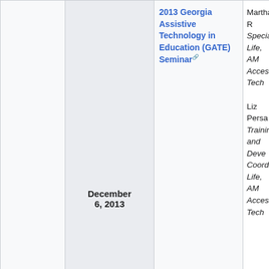| (col1) | Date | Event | Speaker |
| --- | --- | --- | --- |
|  | December 6, 2013 | 2013 Georgia Assistive Technology in Education (GATE) Seminar | Martha R. Specialist Life, AMA Accessib Tech Liz Persa Training, and Deve Coordina Life, AMA Accessib Tech |
|  | November 15, 2013 | 2013 Learning Disabilities Association of Indiana Annual Conference | Carolyn M.Ed., D for Life, A Accessib Tech |
|  |  |  | Carolyn M.Ed., D for Life, |